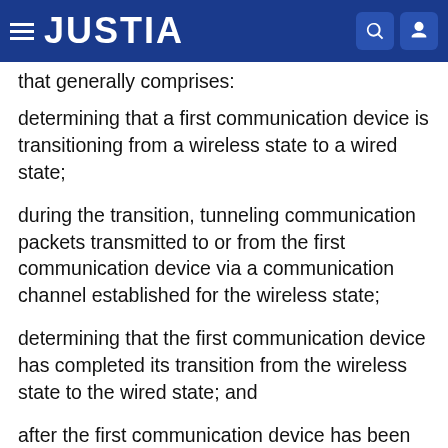JUSTIA
that generally comprises:
determining that a first communication device is transitioning from a wireless state to a wired state;
during the transition, tunneling communication packets transmitted to or from the first communication device via a communication channel established for the wireless state;
determining that the first communication device has completed its transition from the wireless state to the wired state; and
after the first communication device has been determined to have completed its transition from the wireless state to the wired state, routing communication packets transmitted to or from the first communication